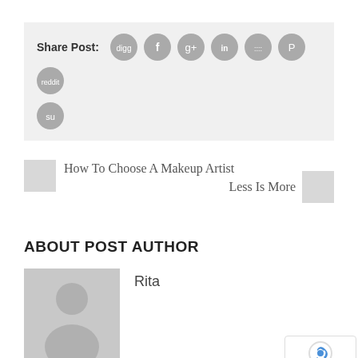Share Post:
[Figure (infographic): Social media share icons: Digg, Facebook, Google+, LinkedIn, MySpace, Pinterest, Reddit, StumbleUpon]
How To Choose A Makeup Artist
Less Is More
ABOUT POST AUTHOR
[Figure (photo): Default grey avatar placeholder image of a person silhouette]
Rita